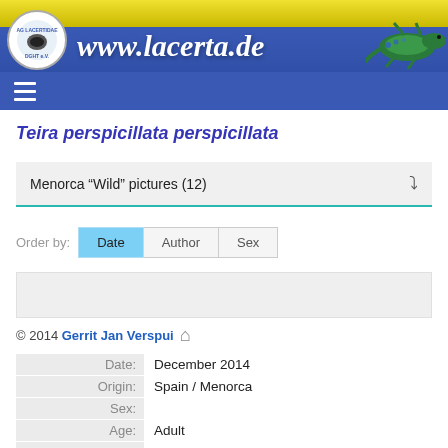www.lacerta.de
Teira perspicillata perspicillata
Menorca “Wild” pictures (12)
Order by: Date  Author  Sex
[Figure (photo): Empty image card placeholder]
© 2014 Gerrit Jan Verspui
| Field | Value |
| --- | --- |
| Date: | December 2014 |
| Origin: | Spain / Menorca |
| Sex: |  |
| Age: | Adult |
| Georeference: |  |